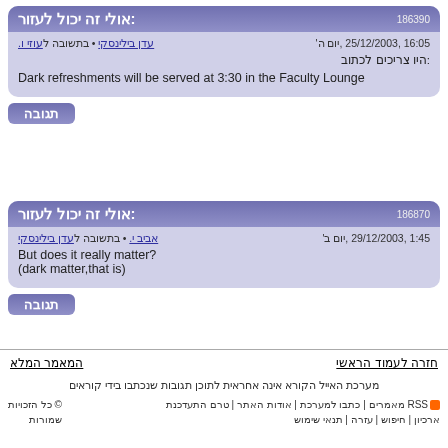186390
אולי זה יכול לעזור:
עדן בילינסקי • בתשובה לעוזי ו. | יום ה', 25/12/2003, 16:05
היו צריכים לכתוב: Dark refreshments will be served at 3:30 in the Faculty Lounge
תגובה
186870
אולי זה יכול לעזור:
אביב י. • בתשובה לעדן בילינסקי | יום ב', 29/12/2003, 1:45
But does it really matter? (dark matter,that is)
תגובה
חזרה לעמוד הראשי | המאמר המלא
מערכת האייל הקורא אינה אחראית לתוכן תגובות שנכתבו בידי קוראים
RSS מאמרים | כתבו למערכת | אודות האתר | טרם התעדכנת | ארכיון | חיפוש | עזרה | תנאי שימוש | © כל הזכויות שמורות